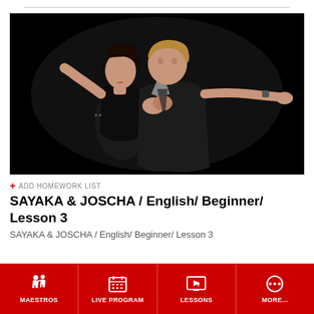[Figure (photo): Two tango dancers (a woman and a man) in close embrace dancing on a black background. The woman is in a black dress, the man in a dark jacket. They hold hands raised.]
+ ADD HOMEWORK LIST
SAYAKA & JOSCHA / English/ Beginner/ Lesson 3
SAYAKA & JOSCHA / English/ Beginner/ Lesson 3
MAESTROS | LIVE PROGRAM | LESSONS | MORE...